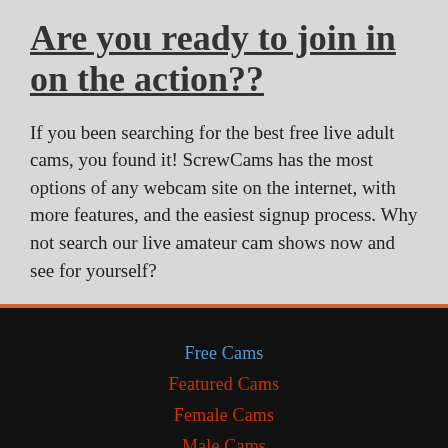Are you ready to join in on the action??
If you been searching for the best free live adult cams, you found it! ScrewCams has the most options of any webcam site on the internet, with more features, and the easiest signup process. Why not search our live amateur cam shows now and see for yourself?
Free Cams
Featured Cams
Female Cams
Male Cams
Couple Cams